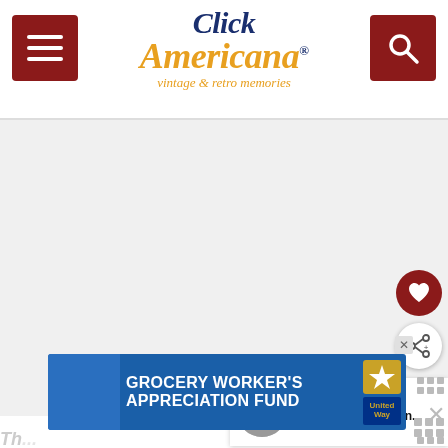[Figure (logo): Click Americana logo with menu button and search button in dark red. Logo text reads 'Click Americana vintage & retro memories']
[Figure (other): Main content area - large white blank area representing article image or content]
[Figure (other): Heart/favorite button - dark red circle with white heart icon]
[Figure (other): Share button - white circle with share icon]
WHAT'S NEXT → How Thomas Edison...
[Figure (photo): Small circular thumbnail photo of Thomas Edison in black and white]
[Figure (other): Advertisement banner: Grocery Worker's Appreciation Fund with Kendall-Jackson and United Way logos on blue background]
Th... ...ho...